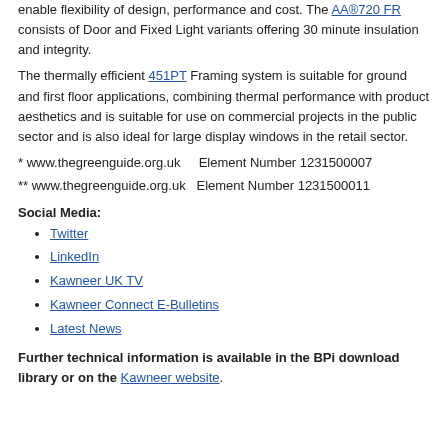enable flexibility of design, performance and cost. The AA®720 FR consists of Door and Fixed Light variants offering 30 minute insulation and integrity.
The thermally efficient 451PT Framing system is suitable for ground and first floor applications, combining thermal performance with product aesthetics and is suitable for use on commercial projects in the public sector and is also ideal for large display windows in the retail sector.
* www.thegreenguide.org.uk    Element Number 1231500007
** www.thegreenguide.org.uk   Element Number 1231500011
Social Media:
Twitter
LinkedIn
Kawneer UK TV
Kawneer Connect E-Bulletins
Latest News
Further technical information is available in the BPi download library or on the Kawneer website.